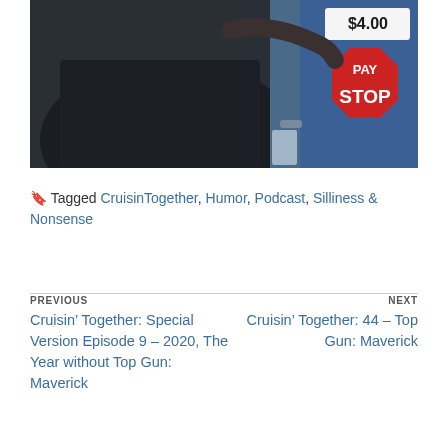[Figure (photo): Photo taken from inside a car showing a person reaching toward a parking/toll machine. A red stop sign reads 'PAY STOP' and a price tag shows '$4.00'.]
Tagged CruisinTogether, Humor, Podcast, Silliness & Nonsense
PREVIOUS
Cruisin’ Together: Special Version Episode 9 – 2020, The Year without Top Gun: Maverick
NEXT
Cruisin’ Together: 44 – Top Gun: Maverick